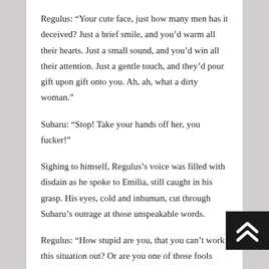Regulus: “Your cute face, just how many men has it deceived? Just a brief smile, and you’d warm all their hearts. Just a small sound, and you’d win all their attention. Just a gentle touch, and they’d pour gift upon gift onto you. Ah, ah, what a dirty woman.”
Subaru: “Stop! Take your hands off her, you fucker!”
Sighing to himself, Regulus’s voice was filled with disdain as he spoke to Emilia, still caught in his grasp. His eyes, cold and inhuman, cut through Subaru’s outrage at those unspeakable words.
Regulus: “How stupid are you, that you can’t work this situation out? Or are you one of those fools who’ve already given up on understanding? Here a ceaselessly trying to explain, but people like you, who